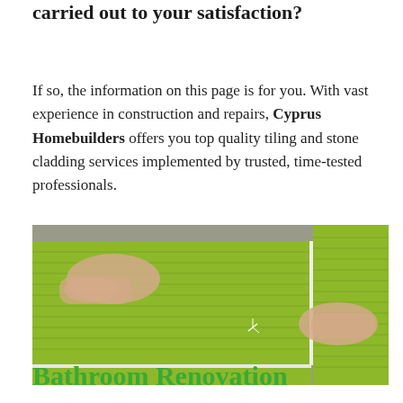carried out to your satisfaction?
If so, the information on this page is for you. With vast experience in construction and repairs, Cyprus Homebuilders offers you top quality tiling and stone cladding services implemented by trusted, time-tested professionals.
[Figure (photo): Two hands pressing a large green ribbed wall tile onto a surface, showing tiling installation in progress.]
Bathroom Renovation